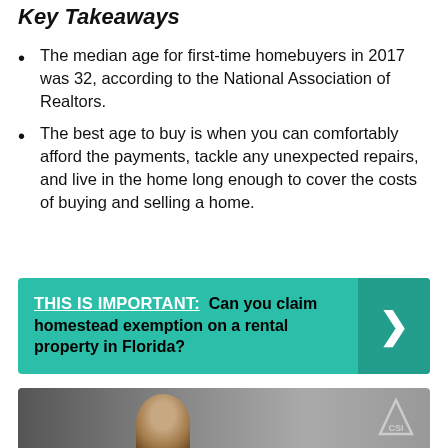Key Takeaways
The median age for first-time homebuyers in 2017 was 32, according to the National Association of Realtors.
The best age to buy is when you can comfortably afford the payments, tackle any unexpected repairs, and live in the home long enough to cover the costs of buying and selling a home.
THIS IS IMPORTANT: Can you claim homestead exemption on a rental property in Florida?
[Figure (photo): Photo strip showing a bald man's head from shoulders up, with a triangular CSI logo in the upper right corner, on a dark gradient background.]